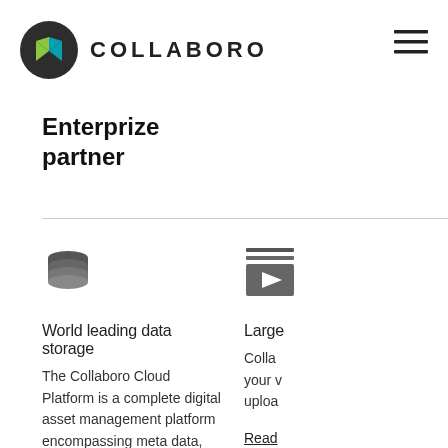[Figure (logo): Collaboro logo: dark circle with green and teal triangle shapes, followed by bold uppercase text COLLABORO]
Enterprize partner
[Figure (illustration): Database stack icon (dark gray cylinders stacked)]
World leading data storage
The Collaboro Cloud Platform is a complete digital asset management platform encompassing meta data, search, share, transcode and download functionality.
Read more
[Figure (illustration): Video playlist icon: stacked lines above a play button rectangle]
Large
Colla your v uploa
Read